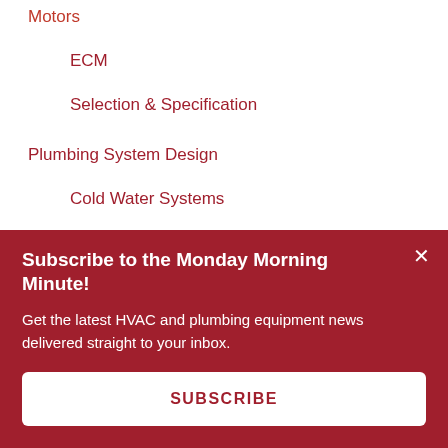Motors
ECM
Selection & Specification
Plumbing System Design
Cold Water Systems
Decarbonization
Domestic Water Recirculating
Hot Water Systems
Subscribe to the Monday Morning Minute!
Get the latest HVAC and plumbing equipment news delivered straight to your inbox.
SUBSCRIBE